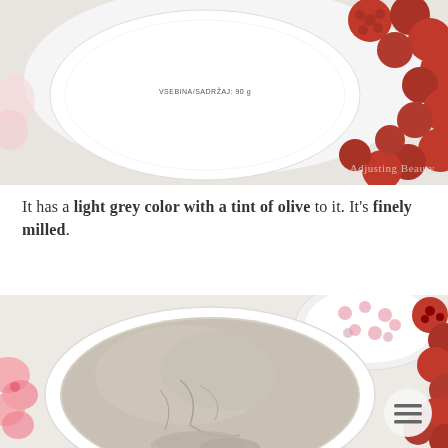[Figure (photo): Top-down view of a white circular cosmetic powder container lid with label 'VSEBINA/SADRŽAJ: 90 g', surrounded by red raspberries on a white surface. Watermark reads 'Adjusting Beauty'.]
It has a light grey color with a tint of olive to it. It's finely milled.
[Figure (photo): Open white cosmetic powder container filled with light grey-beige finely milled powder with cracks visible on the surface, placed on a white fluffy surface. Pink flowers on the left, red raspberries on the right, and a pink patterned bowl lid in the upper right. A hamburger menu icon is visible in the lower right corner.]